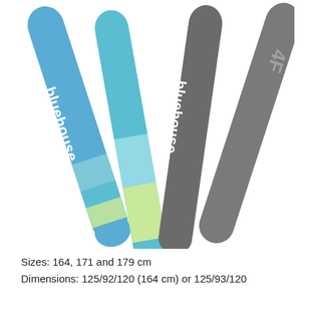[Figure (illustration): Four skis shown leaning at an angle, side by side. Two on the left are blue with 'bluehouse' branding in white text, featuring a landscape graphic with teal, blue, and light green sections. Two on the right are dark gray/charcoal with 'bluehouse' branding in white text and a geometric logo. All skis are narrow at top and bottom with a wider middle shape.]
Sizes: 164, 171 and 179 cm
Dimensions: 125/92/120 (164 cm) or 125/93/120